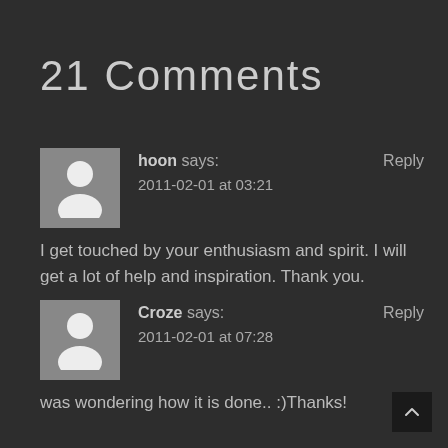21 Comments
hoon says:
2011-02-01 at 03:21
Reply
I get touched by your enthusiasm and spirit. I will get a lot of help and inspiration. Thank you.
Croze says:
2011-02-01 at 07:28
Reply
was wondering how it is done.. :)Thanks!